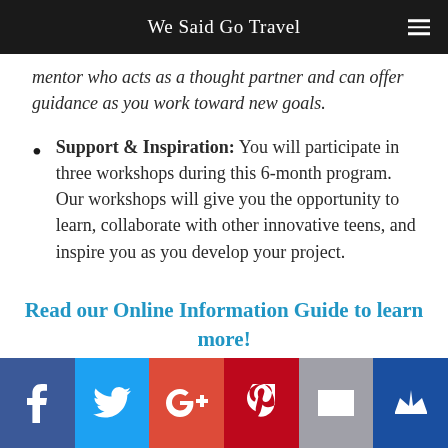We Said Go Travel
mentor who acts as a thought partner and can offer guidance as you work toward new goals.
Support & Inspiration: You will participate in three workshops during this 6-month program. Our workshops will give you the opportunity to learn, collaborate with other innovative teens, and inspire you as you develop your project.
Read our Online Information Guide to learn more!
Social sharing bar: Facebook, Twitter, Google+, Pinterest, Email, Crown